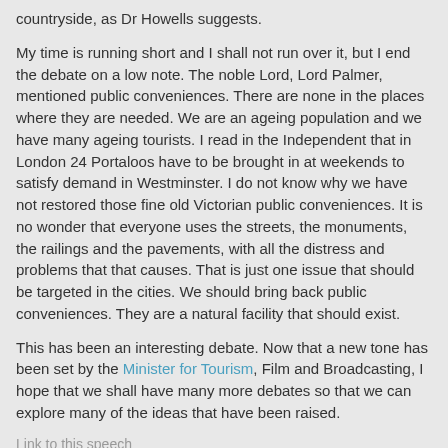countryside, as Dr Howells suggests.
My time is running short and I shall not run over it, but I end the debate on a low note. The noble Lord, Lord Palmer, mentioned public conveniences. There are none in the places where they are needed. We are an ageing population and we have many ageing tourists. I read in the Independent that in London 24 Portaloos have to be brought in at weekends to satisfy demand in Westminster. I do not know why we have not restored those fine old Victorian public conveniences. It is no wonder that everyone uses the streets, the monuments, the railings and the pavements, with all the distress and problems that that causes. That is just one issue that should be targeted in the cities. We should bring back public conveniences. They are a natural facility that should exist.
This has been an interesting debate. Now that a new tone has been set by the Minister for Tourism, Film and Broadcasting, I hope that we shall have many more debates so that we can explore many of the ideas that have been raised.
Link to this speech
In context   Individually
Tweet   Share